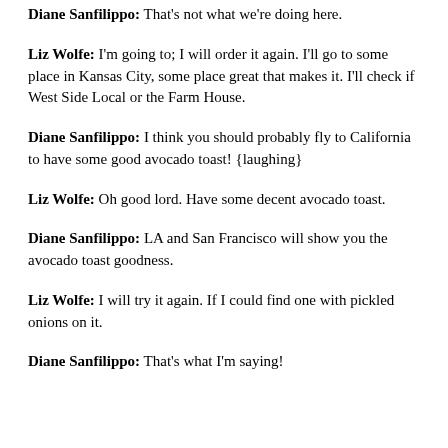Diane Sanfilippo: That's not what we're doing here.
Liz Wolfe: I'm going to; I will order it again. I'll go to some place in Kansas City, some place great that makes it. I'll check if West Side Local or the Farm House.
Diane Sanfilippo: I think you should probably fly to California to have some good avocado toast! {laughing}
Liz Wolfe: Oh good lord. Have some decent avocado toast.
Diane Sanfilippo: LA and San Francisco will show you the avocado toast goodness.
Liz Wolfe: I will try it again. If I could find one with pickled onions on it.
Diane Sanfilippo: That's what I'm saying!